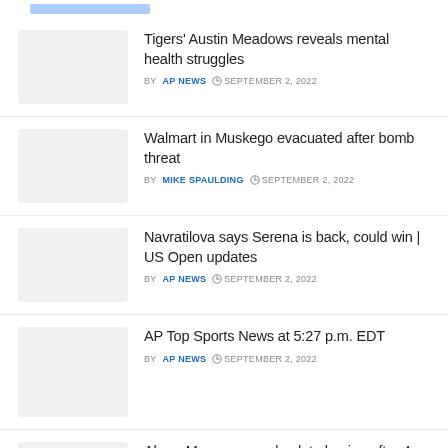Tigers' Austin Meadows reveals mental health struggles | BY AP NEWS | SEPTEMBER 2, 2022
Walmart in Muskego evacuated after bomb threat | BY MIKE SPAULDING | SEPTEMBER 2, 2022
Navratilova says Serena is back, could win | US Open updates | BY AP NEWS | SEPTEMBER 2, 2022
AP Top Sports News at 5:27 p.m. EDT | BY AP NEWS | SEPTEMBER 2, 2022
Abner Mares comes back to boxing after 4-year ring absence | BY AP NEWS | SEPTEMBER 2, 2022